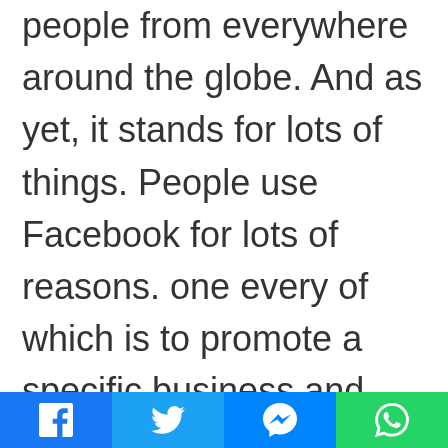people from everywhere around the globe. And as yet, it stands for lots of things. People use Facebook for lots of reasons. one every of which is to promote a specific business and allow people to work out what they're selling. Having a Facebook page or an account will allow you to write down the main points of your product, allowing the people to grasp what you've got. No